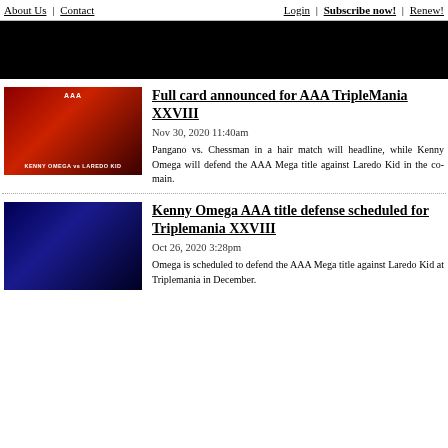About Us | Contact | Login | Subscribe now! | Renew!
[Figure (photo): Black banner/advertisement area]
[Figure (photo): Kenny Omega vs Laredo Kid AAA TripleMania XXVIII promotional image with red curtain background]
Full card announced for AAA TripleMania XXVIII
Nov 30, 2020 11:40am
Pangano vs. Chessman in a hair match will headline, while Kenny Omega will defend the AAA Mega title against Laredo Kid in the co-main.
[Figure (photo): Kenny Omega standing in wrestling arena with blue lighting]
Kenny Omega AAA title defense scheduled for Triplemania XXVIII
Oct 26, 2020 3:28pm
Omega is scheduled to defend the AAA Mega title against Laredo Kid at Triplemania in December.